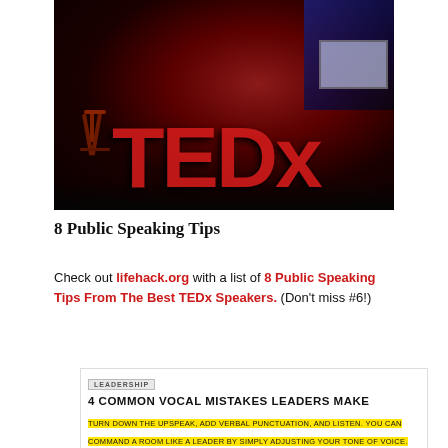[Figure (photo): TEDx stage photo showing large red TEDx letters on a dark stage with a bar stool and blue projection screen in background]
8 Public Speaking Tips
Check out lifehack.org with a list of 8 Public Speaking Tips From The Best TEDx Speakers. (Don't miss #6!)
LEADERSHIP
4 COMMON VOCAL MISTAKES LEADERS MAKE
TURN DOWN THE UPSPEAK, ADD VERBAL PUNCTUATION, AND LISTEN. YOU CAN COMMAND A ROOM LIKE A LEADER BY SIMPLY ADJUSTING YOUR TONE OF VOICE.